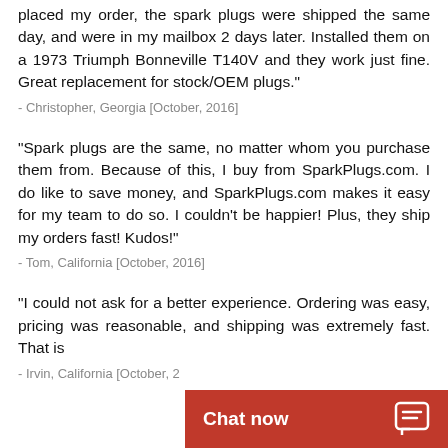placed my order, the spark plugs were shipped the same day, and were in my mailbox 2 days later. Installed them on a 1973 Triumph Bonneville T140V and they work just fine. Great replacement for stock/OEM plugs."
- Christopher, Georgia [October, 2016]
"Spark plugs are the same, no matter whom you purchase them from. Because of this, I buy from SparkPlugs.com. I do like to save money, and SparkPlugs.com makes it easy for my team to do so. I couldn't be happier! Plus, they ship my orders fast! Kudos!"
- Tom, California [October, 2016]
"I could not ask for a better experience. Ordering was easy, pricing was reasonable, and shipping was extremely fast. That is
- Irvin, California [October, 2